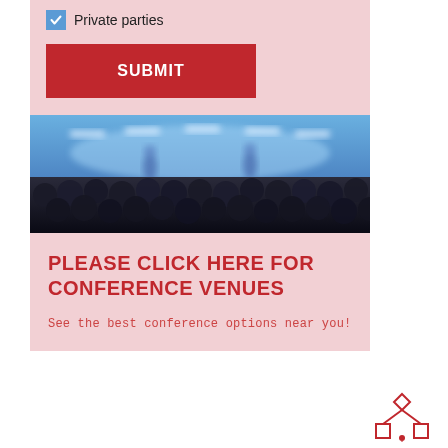✓ Private parties
SUBMIT
[Figure (photo): Blurred photo of a conference audience from behind, with speakers on a blue-lit stage in the background.]
PLEASE CLICK HERE FOR CONFERENCE VENUES
See the best conference options near you!
[Figure (other): Red network/organizational chart icon in the bottom right corner.]